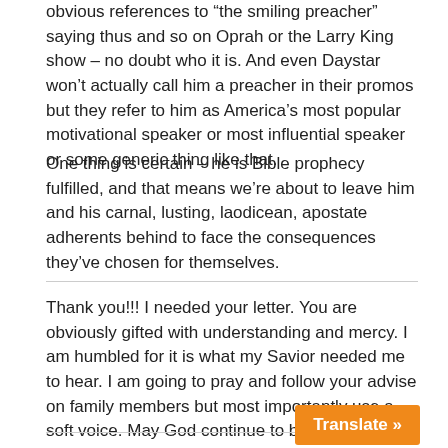obvious references to “the smiling preacher” saying thus and so on Oprah or the Larry King show – no doubt who it is. And even Daystar won’t actually call him a preacher in their promos but they refer to him as America’s most popular motivational speaker or most influential speaker or some generic thing like that.
One thing is certain – he is Bible prophecy fulfilled, and that means we’re about to leave him and his carnal, lusting, laodicean, apostate adherents behind to face the consequences they’ve chosen for themselves.
Thank you!!! I needed your letter. You are obviously gifted with understanding and mercy. I am humbled for it is what my Savior needed me to hear. I am going to pray and follow your advise on family members but most importantly use a soft voice. May God continue to bless you.